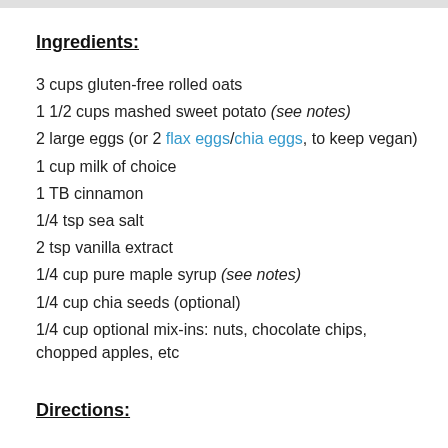Ingredients:
3 cups gluten-free rolled oats
1 1/2 cups mashed sweet potato (see notes)
2 large eggs (or 2 flax eggs/chia eggs, to keep vegan)
1 cup milk of choice
1 TB cinnamon
1/4 tsp sea salt
2 tsp vanilla extract
1/4 cup pure maple syrup (see notes)
1/4 cup chia seeds (optional)
1/4 cup optional mix-ins: nuts, chocolate chips, chopped apples, etc
Directions: